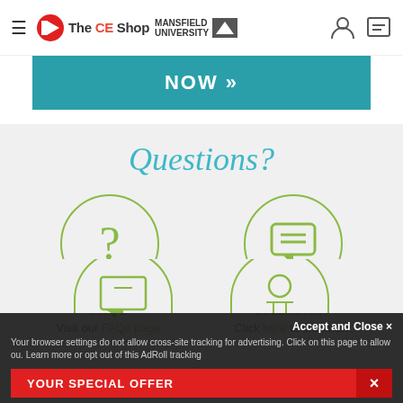The CE Shop Mansfield University
[Figure (screenshot): Teal banner showing NOW »]
Questions?
[Figure (illustration): FAQ icon circle with question mark]
FAQS
Visit our FAQs page.
[Figure (illustration): Live Chat icon circle with speech bubble]
LIVE CHAT
Click here to chat now.
Accept and Close ×
Your browser settings do not allow cross-site tracking for advertising. Click on this page to allow ou. Learn more or opt out of this AdRoll tracking
YOUR SPECIAL OFFER  ×